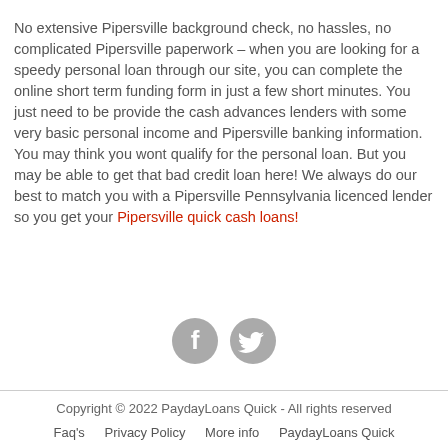No extensive Pipersville background check, no hassles, no complicated Pipersville paperwork – when you are looking for a speedy personal loan through our site, you can complete the online short term funding form in just a few short minutes. You just need to be provide the cash advances lenders with some very basic personal income and Pipersville banking information. You may think you wont qualify for the personal loan. But you may be able to get that bad credit loan here! We always do our best to match you with a Pipersville Pennsylvania licenced lender so you get your Pipersville quick cash loans!
[Figure (illustration): Two circular social media icons side by side: a Facebook icon (f) and a Twitter icon (bird), both in gray.]
Copyright © 2022 PaydayLoans Quick - All rights reserved
Faq's   Privacy Policy   More info   PaydayLoans Quick